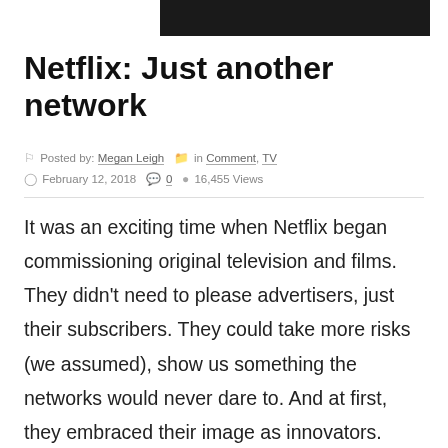Netflix: Just another network
Posted by: Megan Leigh  in Comment, TV
February 12, 2018   0   16,455 Views
It was an exciting time when Netflix began commissioning original television and films. They didn't need to please advertisers, just their subscribers. They could take more risks (we assumed), show us something the networks would never dare to. And at first, they embraced their image as innovators. Netflix saved and revived